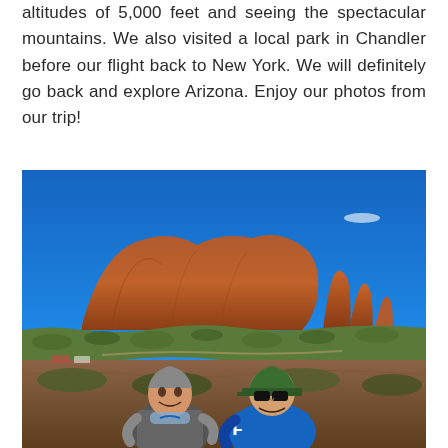altitudes of 5,000 feet and seeing the spectacular mountains. We also visited a local park in Chandler before our flight back to New York. We will definitely go back and explore Arizona. Enjoy our photos from our trip!
[Figure (photo): Two people smiling and posing in front of large red rock formations (Sedona, Arizona) under a bright blue sky. The person on the left wears a grey Jurassic Park t-shirt and has a face mask pulled down. The person on the right wears a blue jacket and dark sunglasses with a green cap.]